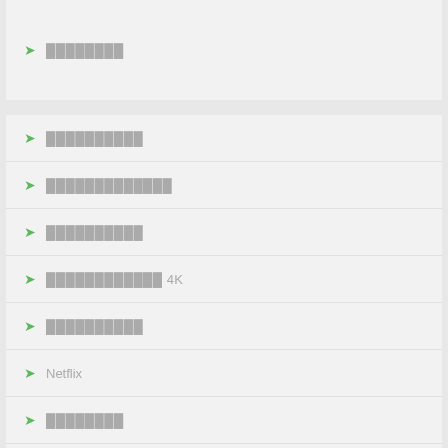████████
██████████
█████████████
██████████
████████████ 4K
██████████
Netflix
████████
██████████
█████